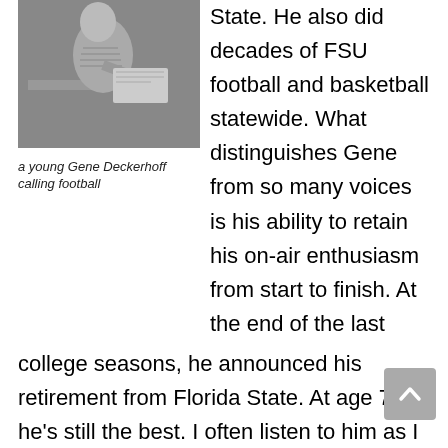[Figure (photo): Black and white photo of a young Gene Deckerhoff sitting at a desk calling football]
a young Gene Deckerhoff calling football
State. He also did decades of FSU football and basketball statewide. What distinguishes Gene from so many voices is his ability to retain his on-air enthusiasm from start to finish. At the end of the last college seasons, he announced his retirement from Florida State. At age 77, he's still the best. I often listen to him as I would a Chick Hearn or Marty Glickman, for the theater of it. Gene is very engaging. Thank goodness, he stays on as Voice of Tampa Bay Bucs. Never loses an iota of his devotion and passion.
Bill Hillgrove, Pittsburgh Steelers, 1994. (29th season)
Once a Pittsburgher always a Pittsburgher. As legend as so